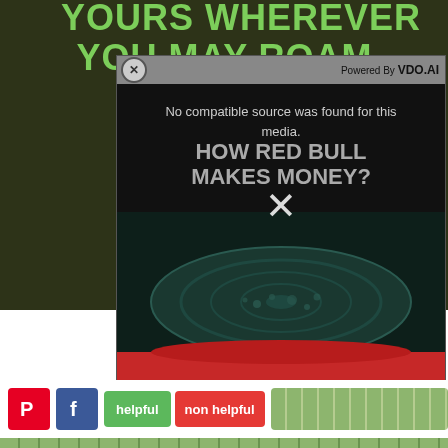[Figure (screenshot): Screenshot of a webpage with dark olive-green banner background showing partial text 'YOURS WHEREVER YOU MAY ROAM...' in large green letters, overlaid by a video ad popup from VDO.AI showing 'No compatible source was found for this media.' with a Red Bull promotional video thumbnail showing 'HOW RED BULL MAKES MONEY?' text and an X close button, and at the bottom a social sharing row with Pinterest and Facebook buttons, 'helpful' and 'non helpful' feedback buttons, and a decorative strip.]